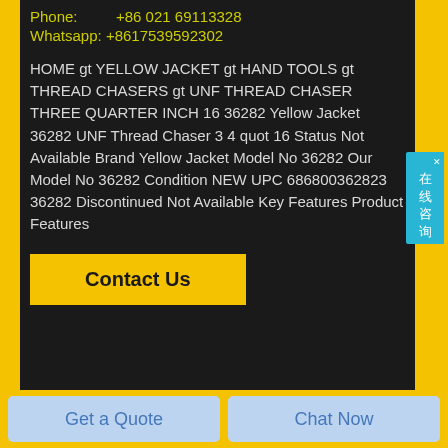Phone:       +86 021 69113328
Whatsapp: +8617539592302
HOME gt YELLOW JACKET gt HAND TOOLS gt THREAD CHASERS gt UNF THREAD CHASER THREE QUARTER INCH 16 36282 Yellow Jacket 36282 UNF Thread Chaser 3 4 quot 16 Status Not Available Brand Yellow Jacket Model No 36282 Our Model No 36282 Condition NEW UPC 686800362823 36282 Discontinued Not Available Key Features Product Features
Contact Us
[Figure (photo): Product image of a Yellow Jacket thread chaser tool, red and black colored device]
Get a Quote
Chat Now